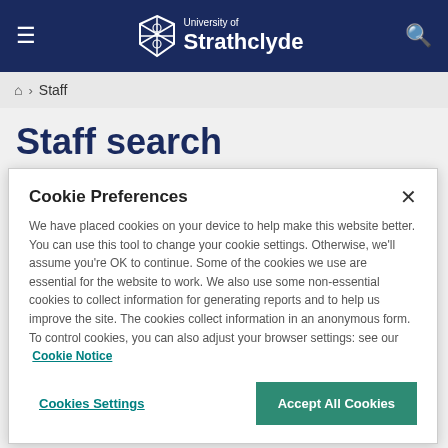University of Strathclyde — navigation bar
Home > Staff
Staff search
Cookie Preferences
We have placed cookies on your device to help make this website better. You can use this tool to change your cookie settings. Otherwise, we'll assume you're OK to continue. Some of the cookies we use are essential for the website to work. We also use some non-essential cookies to collect information for generating reports and to help us improve the site. The cookies collect information in an anonymous form. To control cookies, you can also adjust your browser settings: see our Cookie Notice
Cookies Settings | Accept All Cookies